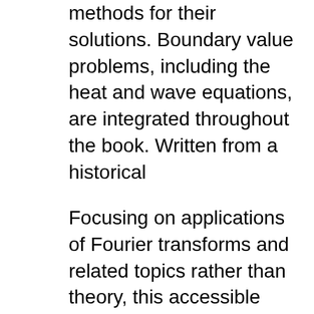methods for their solutions. Boundary value problems, including the heat and wave equations, are integrated throughout the book. Written from a historical
Focusing on applications of Fourier transforms and related topics rather than theory, this accessible treatment is suitable for students and researchers interested in boundary value problems of physics and engineering. 1951 edition. Focusing on applications of Fourier transforms and related topics rather than theory, this accessible treatment is suitable for students and researchers interested in boundary value problems of physics and